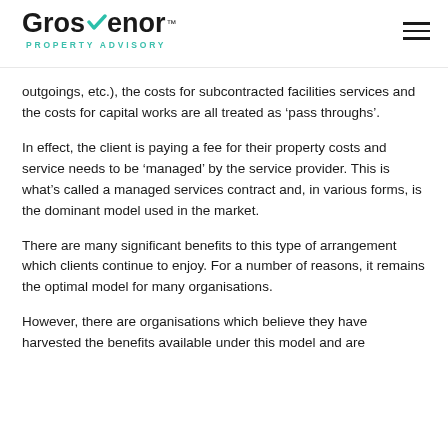Grosvenor PROPERTY ADVISORY
outgoings, etc.), the costs for subcontracted facilities services and the costs for capital works are all treated as ‘pass throughs’.
In effect, the client is paying a fee for their property costs and service needs to be ‘managed’ by the service provider. This is what’s called a managed services contract and, in various forms, is the dominant model used in the market.
There are many significant benefits to this type of arrangement which clients continue to enjoy. For a number of reasons, it remains the optimal model for many organisations.
However, there are organisations which believe they have harvested the benefits available under this model and are